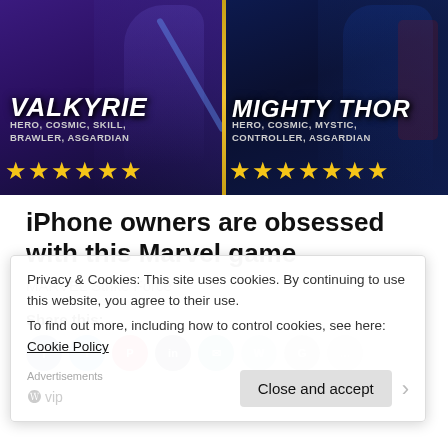[Figure (screenshot): Marvel Strike Force game banner showing two characters: Valkyrie (Hero, Cosmic, Skill, Brawler, Asgardian) and Mighty Thor (Hero, Cosmic, Mystic, Controller, Asgardian), each with gold star ratings below]
iPhone owners are obsessed with this Marvel game
MARVEL Strike Force
Share this:
Privacy & Cookies: This site uses cookies. By continuing to use this website, you agree to their use.
To find out more, including how to control cookies, see here: Cookie Policy
Close and accept